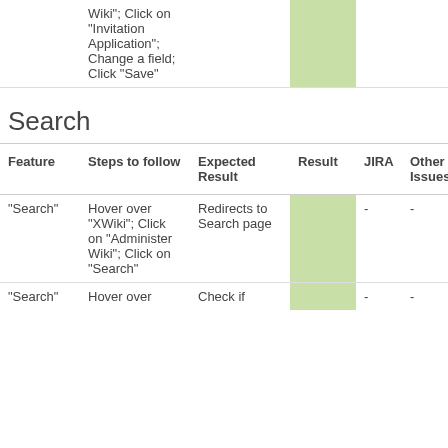| Feature | Steps to follow | Expected Result | Result | JIRA | Other Issues |
| --- | --- | --- | --- | --- | --- |
|  | Wiki"; Click on "Invitation Application"; Change a field; Click "Save" |  |  |  |  |
| Search |  |  |  |  |  |
| "Search" | Hover over "XWiki"; Click on "Administer Wiki"; Click on "Search" | Redirects to Search page |  | - | - |
| "Search" | Hover over | Check if |  | - | - |